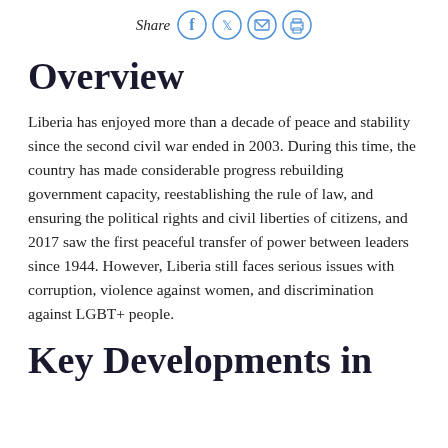Share
Overview
Liberia has enjoyed more than a decade of peace and stability since the second civil war ended in 2003. During this time, the country has made considerable progress rebuilding government capacity, reestablishing the rule of law, and ensuring the political rights and civil liberties of citizens, and 2017 saw the first peaceful transfer of power between leaders since 1944. However, Liberia still faces serious issues with corruption, violence against women, and discrimination against LGBT+ people.
Key Developments in